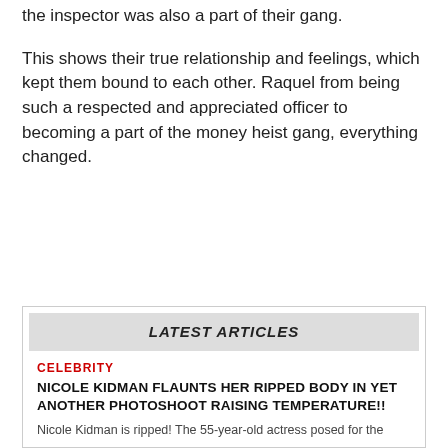the inspector was also a part of their gang.
This shows their true relationship and feelings, which kept them bound to each other. Raquel from being such a respected and appreciated officer to becoming a part of the money heist gang, everything changed.
LATEST ARTICLES
CELEBRITY
NICOLE KIDMAN FLAUNTS HER RIPPED BODY IN YET ANOTHER PHOTOSHOOT RAISING TEMPERATURE!!
Nicole Kidman is ripped! The 55-year-old actress posed for the